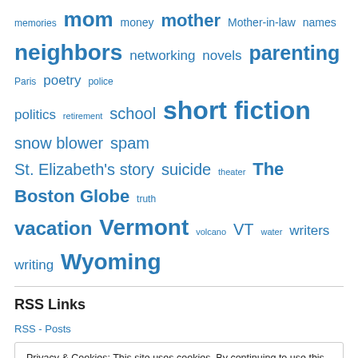memories mom money mother Mother-in-law names neighbors networking novels parenting Paris poetry police politics retirement school short fiction snow blower spam St. Elizabeth's story suicide theater The Boston Globe truth vacation Vermont volcano VT water writers writing Wyoming
RSS Links
RSS - Posts
Privacy & Cookies: This site uses cookies. By continuing to use this website, you agree to their use. To find out more, including how to control cookies, see here: Cookie Policy
Close and accept
Forwordsbooks